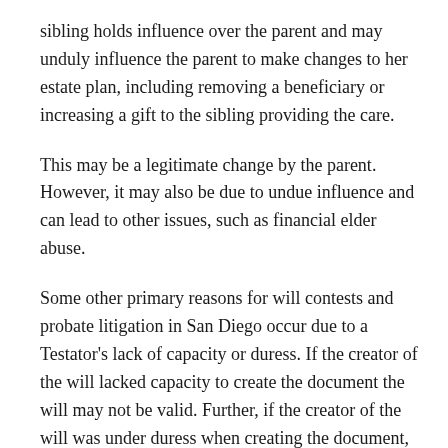sibling holds influence over the parent and may unduly influence the parent to make changes to her estate plan, including removing a beneficiary or increasing a gift to the sibling providing the care.
This may be a legitimate change by the parent. However, it may also be due to undue influence and can lead to other issues, such as financial elder abuse.
Some other primary reasons for will contests and probate litigation in San Diego occur due to a Testator's lack of capacity or duress. If the creator of the will lacked capacity to create the document the will may not be valid. Further, if the creator of the will was under duress when creating the document, the will may not be valid.